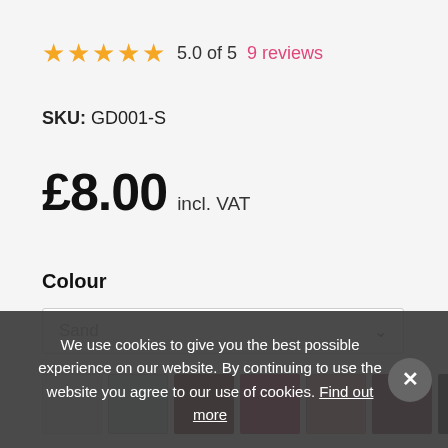★★★★★ 5.0 of 5   9 reviews
SKU: GD001-S
£8.00 incl. VAT
Colour
Sand
We use cookies to give you the best possible experience on our website. By continuing to use the website you agree to our use of cookies. Find out more